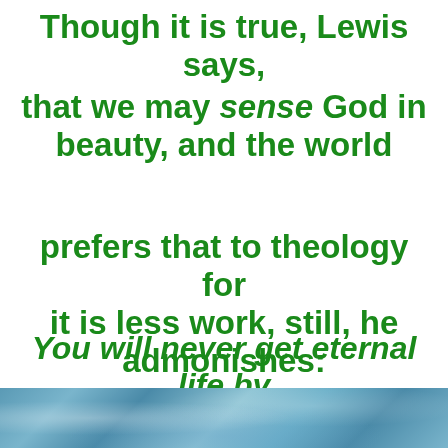Though it is true, Lewis says, that we may sense God in beauty, and the world prefers that to theology for it is less work, still, he admonishes: You will never get eternal life by simply feeling the presence of God in flowers or music.
[Figure (photo): A photo strip at the bottom showing a blue and white cloudy or watery texture, partially visible.]